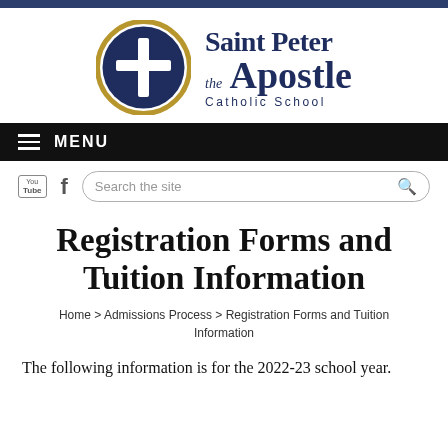[Figure (logo): Saint Peter the Apostle Catholic School logo: circular emblem with navy background and gold ring containing a white cross, beside stylized text reading 'Saint Peter the Apostle Catholic School' in dark navy serif font]
MENU
[Figure (screenshot): Toolbar with YouTube icon, Facebook 'f' icon, and a search bar reading 'Search the site' with a gold magnifying glass icon]
Registration Forms and Tuition Information
Home > Admissions Process > Registration Forms and Tuition Information
The following information is for the 2022-23 school year.